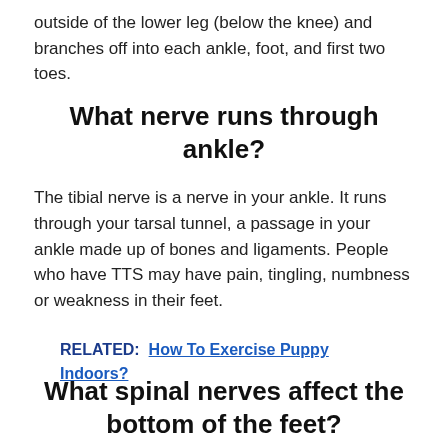outside of the lower leg (below the knee) and branches off into each ankle, foot, and first two toes.
What nerve runs through ankle?
The tibial nerve is a nerve in your ankle. It runs through your tarsal tunnel, a passage in your ankle made up of bones and ligaments. People who have TTS may have pain, tingling, numbness or weakness in their feet.
RELATED:  How To Exercise Puppy Indoors?
What spinal nerves affect the bottom of the feet?
The peroneal nerve is a branch of the sciatic nerve. It supplies